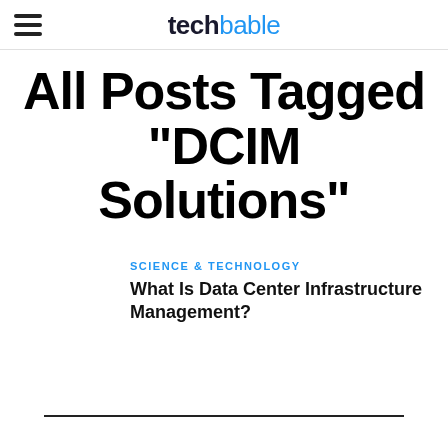techbable
All Posts Tagged "DCIM Solutions"
SCIENCE & TECHNOLOGY
What Is Data Center Infrastructure Management?